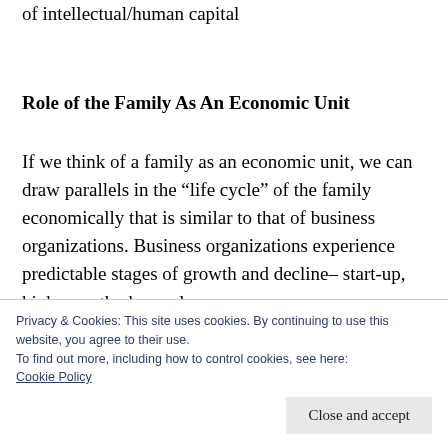of intellectual/human capital
Role of the Family As An Economic Unit
If we think of a family as an economic unit, we can draw parallels in the “life cycle” of the family economically that is similar to that of business organizations. Business organizations experience predictable stages of growth and decline– start-up, high growth phase, slow
Privacy & Cookies: This site uses cookies. By continuing to use this website, you agree to their use.
To find out more, including how to control cookies, see here:
Cookie Policy
Close and accept